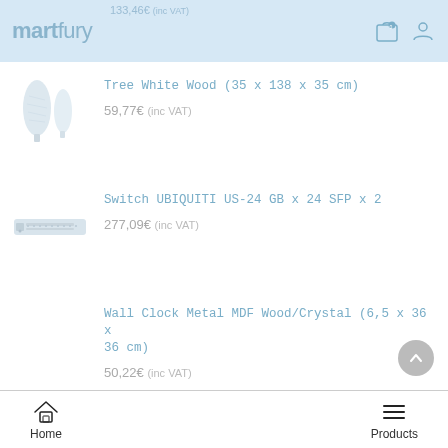martfury — 133,46€ (inc VAT)
Tree White Wood (35 x 138 x 35 cm)
59,77€ (inc VAT)
Switch UBIQUITI US-24 GB x 24 SFP x 2
277,09€ (inc VAT)
Wall Clock Metal MDF Wood/Crystal (6,5 x 36 x 36 cm)
50,22€ (inc VAT)
Home | Products